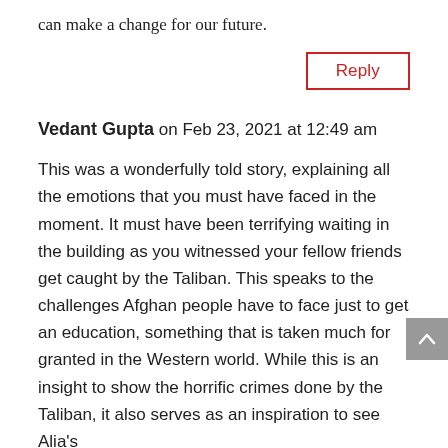can make a change for our future.
Reply
Vedant Gupta on Feb 23, 2021 at 12:49 am
This was a wonderfully told story, explaining all the emotions that you must have faced in the moment. It must have been terrifying waiting in the building as you witnessed your fellow friends get caught by the Taliban. This speaks to the challenges Afghan people have to face just to get an education, something that is taken much for granted in the Western world. While this is an insight to show the horrific crimes done by the Taliban, it also serves as an inspiration to see Alia's